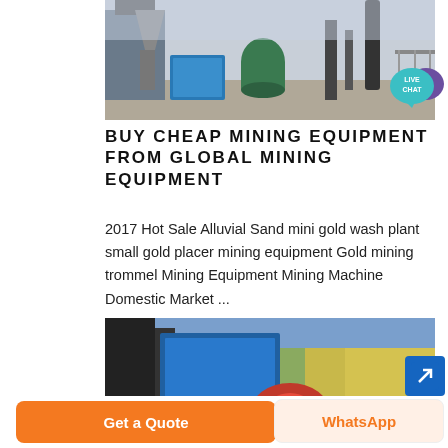[Figure (photo): Industrial mining equipment facility with blue and green machinery, silos and pipes visible outdoors]
[Figure (other): Live Chat speech bubble icon in teal/purple colors]
BUY CHEAP MINING EQUIPMENT FROM GLOBAL MINING EQUIPMENT
2017 Hot Sale Alluvial Sand mini gold wash plant small gold placer mining equipment Gold mining trommel Mining Equipment Mining Machine Domestic Market ...
[Figure (photo): Close-up of blue mining machinery with red rotating drum parts, trees visible in background]
[Figure (other): Blue arrow button pointing top-right]
Get a Quote
WhatsApp